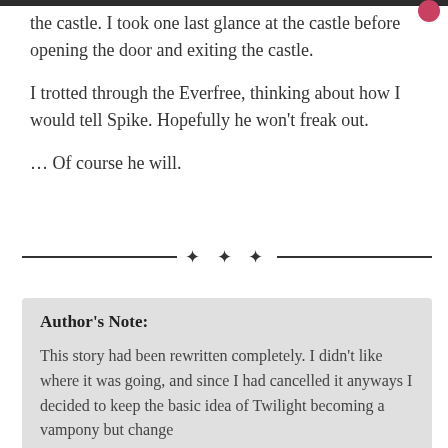the castle. I took one last glance at the castle before opening the door and exiting the castle.
I trotted through the Everfree, thinking about how I would tell Spike. Hopefully he won't freak out.
… Of course he will.
* * *
Author's Note:
This story had been rewritten completely. I didn't like where it was going, and since I had cancelled it anyways I decided to keep the basic idea of Twilight becoming a vampony but change